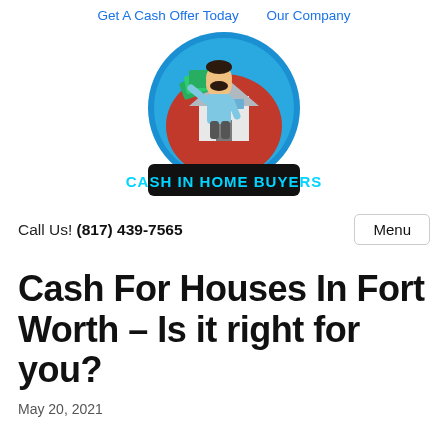Get A Cash Offer Today   Our Company
[Figure (logo): Cash In Home Buyers logo: cartoon man holding cash in front of a house, circular design with blue and red colors, text 'CASH IN HOME BUYERS' on bottom banner]
Call Us! (817) 439-7565
Cash For Houses In Fort Worth – Is it right for you?
May 20, 2021